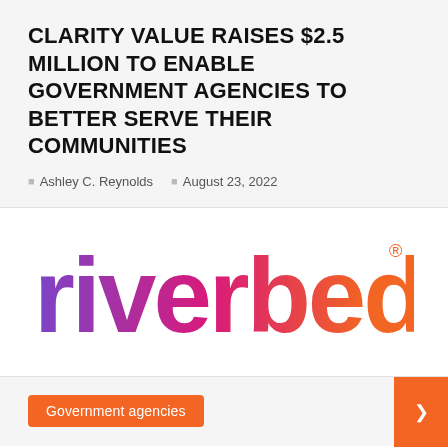CLARITY VALUE RAISES $2.5 MILLION TO ENABLE GOVERNMENT AGENCIES TO BETTER SERVE THEIR COMMUNITIES
Ashley C. Reynolds   August 23, 2022
[Figure (logo): Riverbed logo in gradient color from purple to magenta to orange with registered trademark symbol]
Government agencies